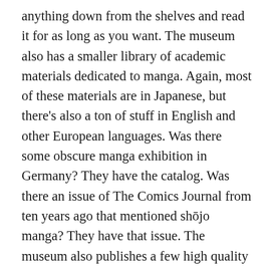anything down from the shelves and read it for as long as you want. The museum also has a smaller library of academic materials dedicated to manga. Again, most of these materials are in Japanese, but there's also a ton of stuff in English and other European languages. Was there some obscure manga exhibition in Germany? They have the catalog. Was there an issue of The Comics Journal from ten years ago that mentioned shōjo manga? They have that issue. The museum also publishes a few high quality pamphlets and periodicals that you're free to take as you please (my favorite is a small magazine highlighting the areas of Kyoto featured in recent anime and manga).